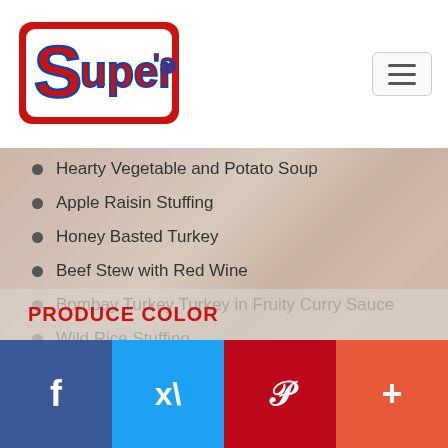Super's logo and navigation
Hearty Vegetable and Potato Soup
Apple Raisin Stuffing
Honey Basted Turkey
Beef Stew with Red Wine
Bombay Turkey Turkey in Fruity Curry Sauce
Wild Rice Stuffing
Chicken Baked with Pumpkin and Peanuts
PRODUCE COLOR
f  Twitter  P  +